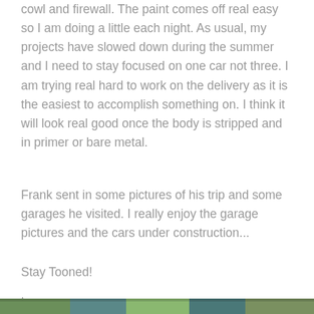cowl and firewall. The paint comes off real easy so I am doing a little each night. As usual, my projects have slowed down during the summer and I need to stay focused on one car not three. I am trying real hard to work on the delivery as it is the easiest to accomplish something on. I think it will look real good once the body is stripped and in primer or bare metal.
Frank sent in some pictures of his trip and some garages he visited. I really enjoy the garage pictures and the cars under construction...
Stay Tooned!
Lynn
[Figure (photo): Partial bottom strip of a photo showing outdoor scene, appears to be cars or vehicles]